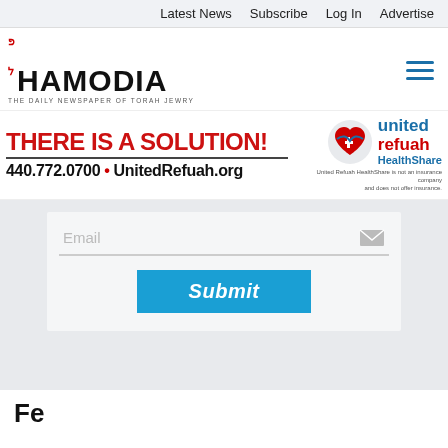Latest News  Subscribe  Log In  Advertise
[Figure (logo): Hamodia newspaper logo - 'HAMODIA' in bold black with Hebrew text, subtitle 'THE DAILY NEWSPAPER OF TORAH JEWRY']
[Figure (infographic): United Refuah HealthShare advertisement banner: 'THERE IS A SOLUTION!' in red, '440.772.0700 • UnitedRefuah.org' in black bold, United Refuah HealthShare logo on right side with disclaimer text]
[Figure (screenshot): Email input form field with placeholder text 'Email' and envelope icon, Submit button in blue, popup overlay 'Try 30-days FREE! Unlock all the benefits of Hamodia.com FREE for 30-days by clicking below. Start Your Trial →']
Fe